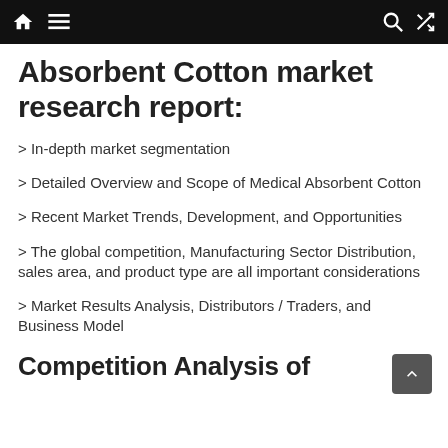Navigation bar with home, menu, search, and shuffle icons
Absorbent Cotton market research report:
> In-depth market segmentation
> Detailed Overview and Scope of Medical Absorbent Cotton
> Recent Market Trends, Development, and Opportunities
> The global competition, Manufacturing Sector Distribution, sales area, and product type are all important considerations
> Market Results Analysis, Distributors / Traders, and Business Model
Competition Analysis of